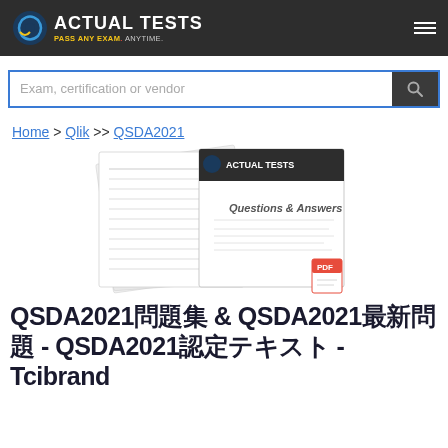ACTUAL TESTS - PASS ANY EXAM. ANYTIME.
[Figure (screenshot): Search bar with placeholder text 'Exam, certification or vendor' and a dark search button on the right]
Home > Qlik >> QSDA2021
[Figure (photo): Product image showing stacked document pages with 'Questions & Answers' text and Actual Tests branding, with a PDF icon in the corner]
QSDA2021問題集 & QSDA2021最新問題 - QSDA2021認定テキスト - Tcibrand